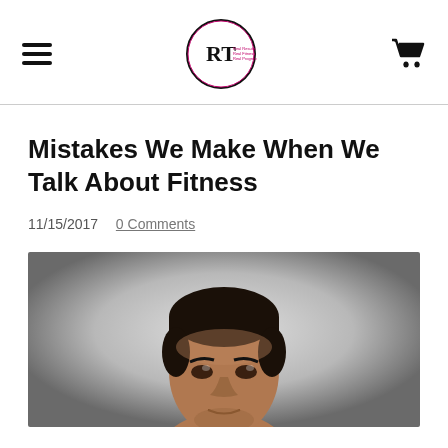[Navigation header with hamburger menu, RT logo, and cart icon]
Mistakes We Make When We Talk About Fitness
11/15/2017  0 Comments
[Figure (photo): Close-up photo of a man looking upward, against a grey gradient background]